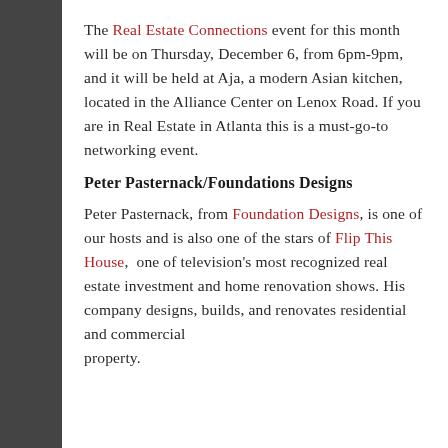The Real Estate Connections event for this month will be on Thursday, December 6, from 6pm-9pm, and it will be held at Aja, a modern Asian kitchen, located in the Alliance Center on Lenox Road. If you are in Real Estate in Atlanta this is a must-go-to networking event.
Peter Pasternack/Foundations Designs
Peter Pasternack, from Foundation Designs, is one of our hosts and is also one of the stars of Flip This House, one of television's most recognized real estate investment and home renovation shows. His company designs, builds, and renovates residential and commercial property.